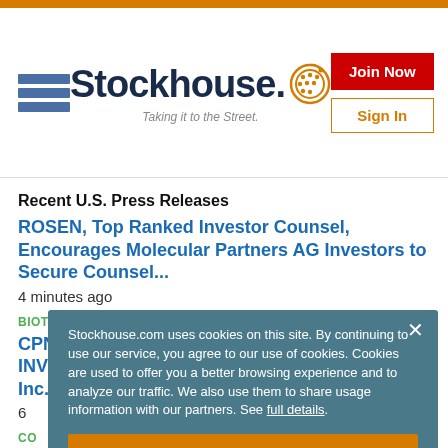[Figure (logo): Stockhouse logo with hamburger menu icon, 'Stockhouse.' text with orange circle icon, and tagline 'Taking it to the Street.' Also Join Now (red button) and Sign In (orange-bordered button).]
Recent U.S. Press Releases
ROSEN, Top Ranked Investor Counsel, Encourages Molecular Partners AG Investors to Secure Counsel...
4 minutes ago
BIOTECHNOLOGY | HEALTHCARE
CPNG BREAKING NEWS: ROSEN, TRUSTED INVESTOR COUNSEL, Encourages Coupang, Inc. Investors to S...
6 minutes ago
CO...
R... M...
9 minutes ago
GL...
Stockhouse.com uses cookies on this site. By continuing to use our service, you agree to our use of cookies. Cookies are used to offer you a better browsing experience and to analyze our traffic. We also use them to share usage information with our partners. See full details.